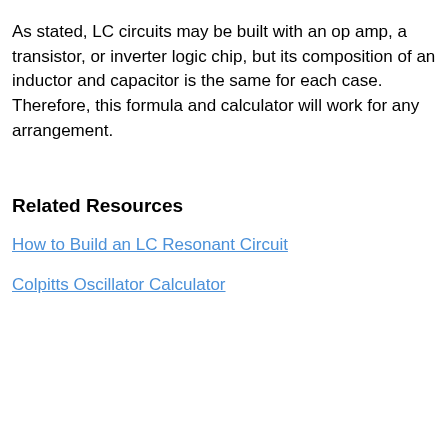As stated, LC circuits may be built with an op amp, a transistor, or inverter logic chip, but its composition of an inductor and capacitor is the same for each case. Therefore, this formula and calculator will work for any arrangement.
Related Resources
How to Build an LC Resonant Circuit
Colpitts Oscillator Calculator